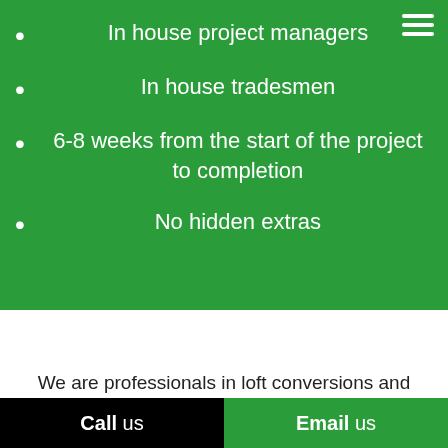In house project managers
In house tradesmen
6-8 weeks from the start of the project to completion
No hidden extras
We are professionals in loft conversions and loft extensions in Epping and are here to help you with
Call us   Email us